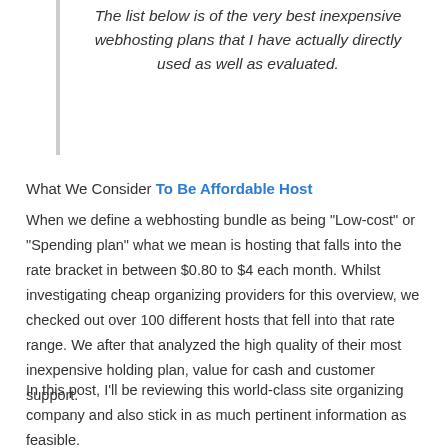The list below is of the very best inexpensive webhosting plans that I have actually directly used as well as evaluated.
What We Consider To Be Affordable Host
When we define a webhosting bundle as being “Low-cost” or “Spending plan” what we mean is hosting that falls into the rate bracket in between $0.80 to $4 each month. Whilst investigating cheap organizing providers for this overview, we checked out over 100 different hosts that fell into that rate range. We after that analyzed the high quality of their most inexpensive holding plan, value for cash and customer support.
In this post, I’ll be reviewing this world-class site organizing company and also stick in as much pertinent information as feasible.